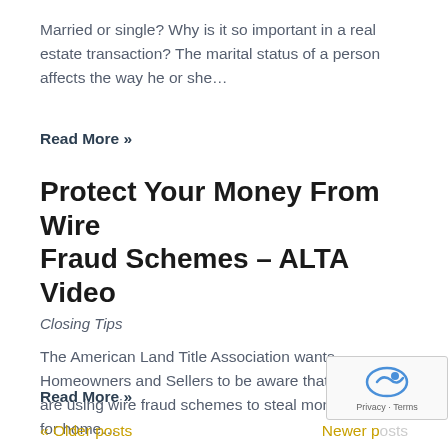Married or single? Why is it so important in a real estate transaction? The marital status of a person affects the way he or she…
Read More »
Protect Your Money From Wire Fraud Schemes – ALTA Video
Closing Tips
The American Land Title Association wants Homeowners and Sellers to be aware that criminals are using wire fraud schemes to steal money meant for home…
Read More »
« Older posts   Newer posts